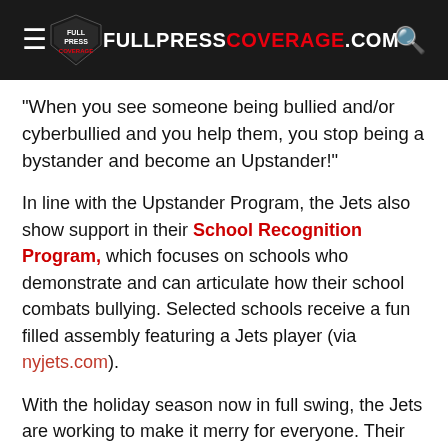FULLPRESSCOVERAGE.COM
“When you see someone being bullied and/or cyberbullied and you help them, you stop being a bystander and become an Upstander!”
In line with the Upstander Program, the Jets also show support in their School Recognition Program, which focuses on schools who demonstrate and can articulate how their school combats bullying. Selected schools receive a fun filled assembly featuring a Jets player (via nyjets.com).
With the holiday season now in full swing, the Jets are working to make it merry for everyone. Their recent efforts go beyond the game of football, and for that, we say thank you.
For more on NYJets initiatives, check back on...